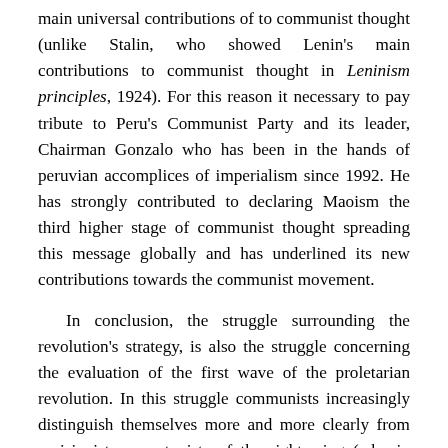main universal contributions of to communist thought (unlike Stalin, who showed Lenin's main contributions to communist thought in Leninism principles, 1924). For this reason it necessary to pay tribute to Peru's Communist Party and its leader, Chairman Gonzalo who has been in the hands of peruvian accomplices of imperialism since 1992. He has strongly contributed to declaring Maoism the third higher stage of communist thought spreading this message globally and has underlined its new contributions towards the communist movement.
In conclusion, the struggle surrounding the revolution's strategy, is also the struggle concerning the evaluation of the first wave of the proletarian revolution. In this struggle communists increasingly distinguish themselves more and more clearly from revisionists opportunists of the right wing (who in one way or another openly support the "pacific and democratic road to socialism) as well from dogmatic communists (generally supporters of a legal work today and waiting for insurrection tomorrow,